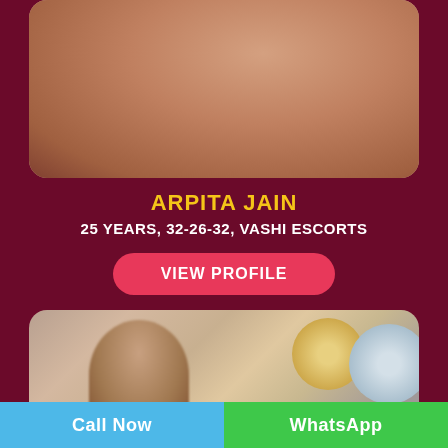[Figure (photo): Top photo card showing a person, cropped close-up with warm skin tones]
ARPITA JAIN
25 YEARS, 32-26-32, VASHI ESCORTS
VIEW PROFILE
[Figure (photo): Bottom photo card showing a woman with long dark hair indoors, decorative wall plates with geometric and leaf patterns visible in background]
Call Now
WhatsApp